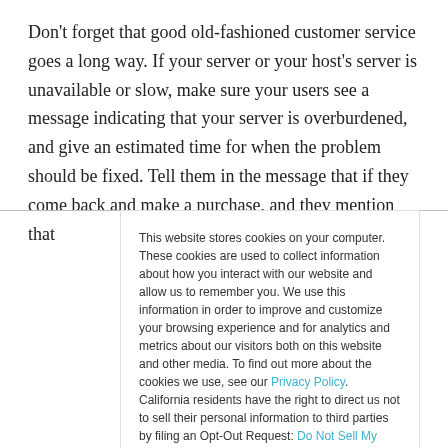Don't forget that good old-fashioned customer service goes a long way. If your server or your host's server is unavailable or slow, make sure your users see a message indicating that your server is overburdened, and give an estimated time for when the problem should be fixed. Tell them in the message that if they come back and make a purchase, and they mention that
This website stores cookies on your computer. These cookies are used to collect information about how you interact with our website and allow us to remember you. We use this information in order to improve and customize your browsing experience and for analytics and metrics about our visitors both on this website and other media. To find out more about the cookies we use, see our Privacy Policy. California residents have the right to direct us not to sell their personal information to third parties by filing an Opt-Out Request: Do Not Sell My Personal Info.
Accept